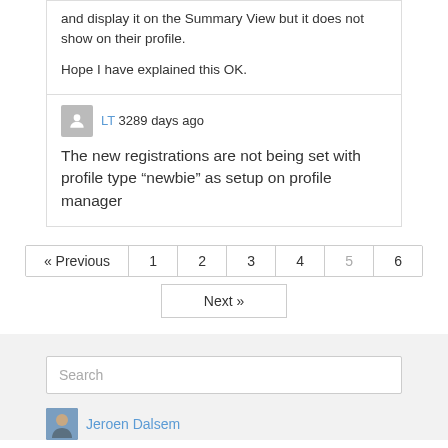and display it on the Summary View but it does not show on their profile.
Hope I have explained this OK.
LT 3289 days ago
The new registrations are not being set with profile type "newbie" as setup on profile manager
« Previous 1 2 3 4 5 6
Next »
Search
Jeroen Dalsem